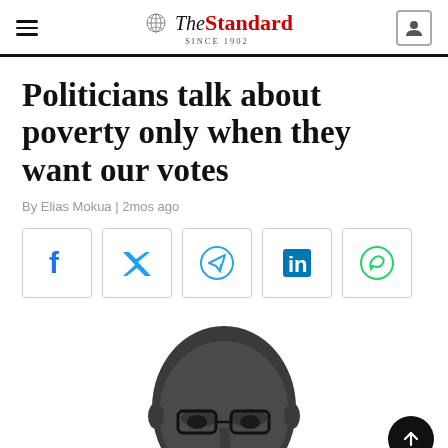The Standard — SINCE 1902
Politicians talk about poverty only when they want our votes
By Elias Mokua | 2mos ago
[Figure (other): Social media share buttons: Facebook, Twitter, Telegram, LinkedIn, WhatsApp]
[Figure (illustration): Black and white illustration/portrait of a bald man wearing glasses, cropped at lower face, looking forward]